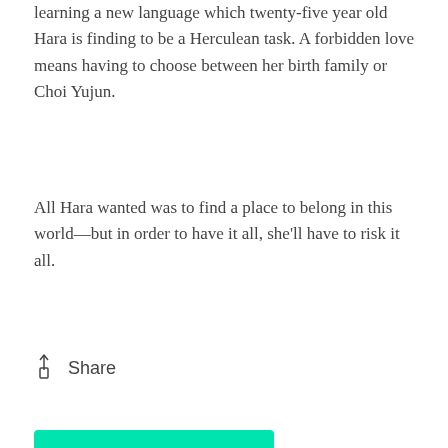learning a new language which twenty-five year old Hara is finding to be a Herculean task. A forbidden love means having to choose between her birth family or Choi Yujun.
All Hara wanted was to find a place to belong in this world—but in order to have it all, she'll have to risk it all.
Share
Add to Wishlist
0
[Figure (illustration): Yellow circle with a heart-tag icon inside, overlapping a dark navy blue rectangular banner section at the bottom of the page.]